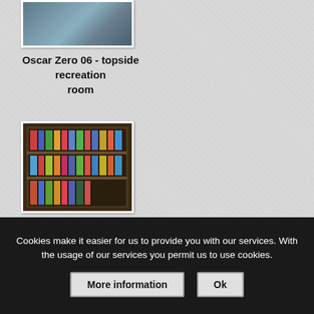[Figure (photo): Top portion of a photo showing recreation room interior, partially cut off at top]
Oscar Zero 06 - topside recreation room
[Figure (photo): Bookshelf or media shelf filled with VHS tapes or magazines/books, viewed from front]
Cookies make it easier for us to provide you with our services. With the usage of our services you permit us to use cookies.
More information   Ok